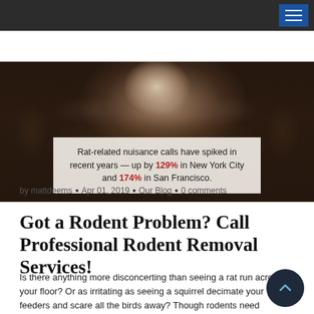[Figure (photo): Close-up photo of a rat peeking over a wooden surface, with a semi-transparent stat overlay box reading: Rat-related nuisance calls have spiked in recent years — up by 129% in New York City and 174% in San Francisco.]
by mattdeems  •  Apr 01, 2019  •  Our Blog  •  0 comments
Got a Rodent Problem? Call Professional Rodent Removal Services!
Is there anything more disconcerting than seeing a rat run across your floor? Or as irritating as seeing a squirrel decimate your feeders and scare all the birds away? Though rodents need somewhere to live (and things to eat) too, most of us prefer that it's not in our homes or chewing up our